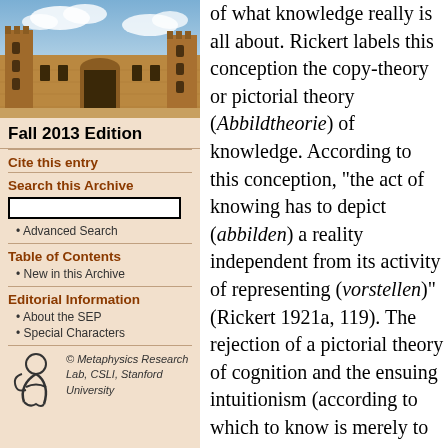[Figure (photo): Photograph of a historic stone university building with towers and courtyard under a partly cloudy sky.]
Fall 2013 Edition
Cite this entry
Search this Archive
Advanced Search
Table of Contents
New in this Archive
Editorial Information
About the SEP
Special Characters
[Figure (logo): Metaphysics Research Lab, CSLI, Stanford University logo with stylized figure icon.]
of what knowledge really is all about. Rickert labels this conception the copy-theory or pictorial theory (Abbildtheorie) of knowledge. According to this conception, “the act of knowing has to depict (abbilden) a reality independent from its activity of representing (vorstellen)” (Rickert 1921a, 119). The rejection of a pictorial theory of cognition and the ensuing intuitionism (according to which to know is merely to intuit some mind-independent real or noetic object), remains a constant in Rickert’s philosophy (see Rickert 1934a; Staiti 2013). It also connects Rickert with other Neo-Kantians, including